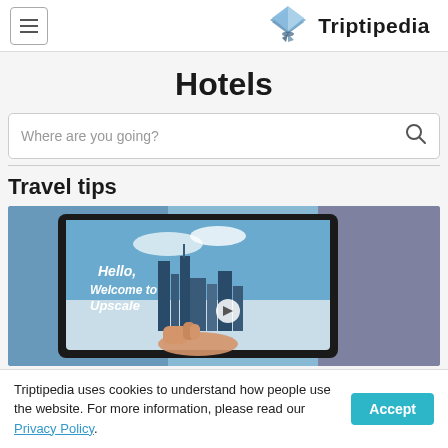Triptipedia
Hotels
Where are you going?
Travel tips
[Figure (photo): A tablet displaying a hotel welcome screen with the text 'Hello, Welcome to Upscale' and a skyline of New York City in the background; a hand is touching the screen.]
Triptipedia uses cookies to understand how people use the website. For more information, please read our Privacy Policy.